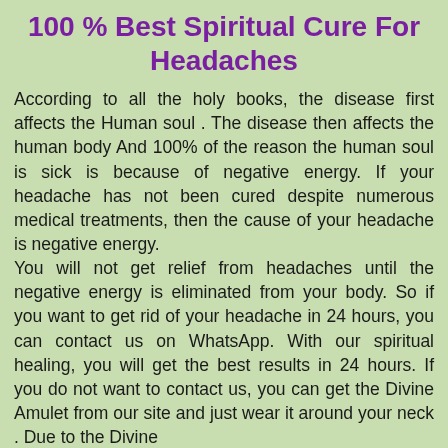100 % Best Spiritual Cure For Headaches
According to all the holy books, the disease first affects the Human soul . The disease then affects the human body And 100% of the reason the human soul is sick is because of negative energy. If your headache has not been cured despite numerous medical treatments, then the cause of your headache is negative energy. You will not get relief from headaches until the negative energy is eliminated from your body. So if you want to get rid of your headache in 24 hours, you can contact us on WhatsApp. With our spiritual healing, you will get the best results in 24 hours. If you do not want to contact us, you can get the Divine Amulet from our site and just wear it around your neck . Due to the Divine